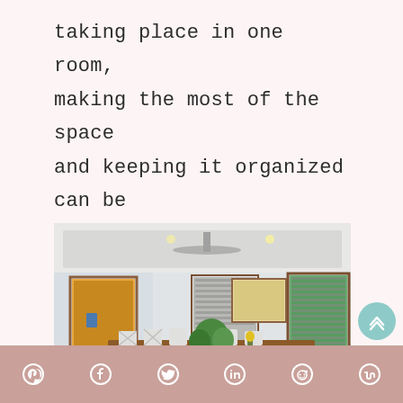taking place in one room, making the most of the space and keeping it organized can be tough. We'll show you how to use dining room decor to your advantage.
[Figure (photo): Interior photo of a dining room with a long wooden table, white chairs, a ceiling fan, recessed lighting, wood-framed windows with shutters, a framed artwork on the wall, and a potted plant on the table. A doorway with warm yellow lighting is visible in the background.]
Social share icons: Pinterest, Facebook, Twitter, LinkedIn, Reddit, Mix